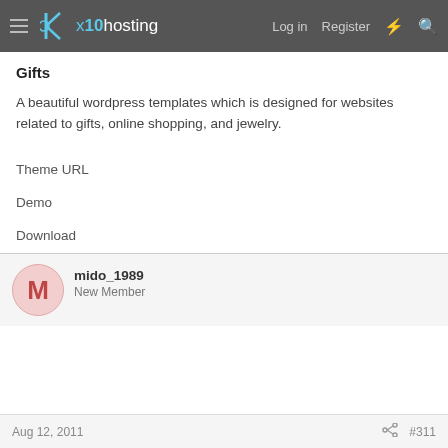x10hosting  Log in  Register
Gifts
A beautiful wordpress templates which is designed for websites related to gifts, online shopping, and jewelry.
Theme URL
Demo
Download
mido_1989
New Member
Aug 12, 2011   #311